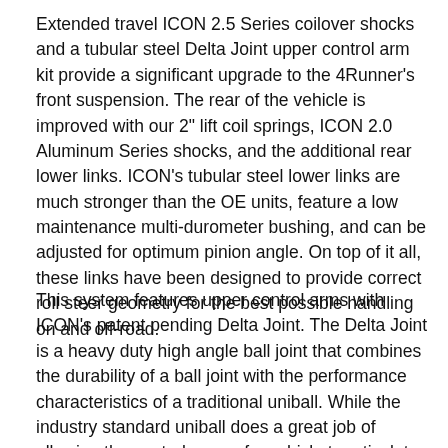Extended travel ICON 2.5 Series coilover shocks and a tubular steel Delta Joint upper control arm kit provide a significant upgrade to the 4Runner's front suspension. The rear of the vehicle is improved with our 2" lift coil springs, ICON 2.0 Aluminum Series shocks, and the additional rear lower links. ICON's tubular steel lower links are much stronger than the OE units, feature a low maintenance multi-durometer bushing, and can be adjusted for optimum pinion angle. On top of it all, these links have been designed to provide correct roll steer geometry for the best possible handling on and off-road.
This system features upper control arms with ICON's patent pending Delta Joint. The Delta Joint is a heavy duty high angle ball joint that combines the durability of a ball joint with the performance characteristics of a traditional uniball. While the industry standard uniball does a great job of allowing the control arms of a vehicle to articulate with little bind, they do have an inherent weakness that leaves more to be desired when used in a daily driven application - exposure to the elements. The Delta Joint features a zinc plated